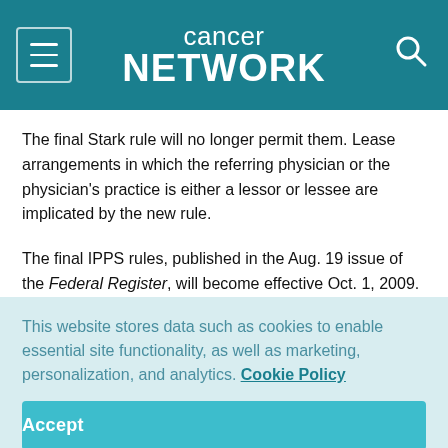cancer network
The final Stark rule will no longer permit them. Lease arrangements in which the referring physician or the physician's practice is either a lessor or lessee are implicated by the new rule.
The final IPPS rules, published in the Aug. 19 issue of the Federal Register, will become effective Oct. 1, 2009.
This website stores data such as cookies to enable essential site functionality, as well as marketing, personalization, and analytics. Cookie Policy
Accept
Deny